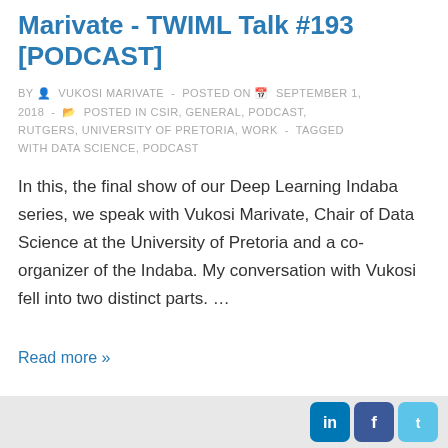Marivate - TWIML Talk #193 [PODCAST]
BY VUKOSI MARIVATE - POSTED ON SEPTEMBER 1, 2018 - POSTED IN CSIR, GENERAL, PODCAST, RUTGERS, UNIVERSITY OF PRETORIA, WORK - TAGGED WITH DATA SCIENCE, PODCAST
In this, the final show of our Deep Learning Indaba series, we speak with Vukosi Marivate, Chair of Data Science at the University of Pretoria and a co-organizer of the Indaba. My conversation with Vukosi fell into two distinct parts. …
Read more »
Social icons: LinkedIn, Facebook, Twitter